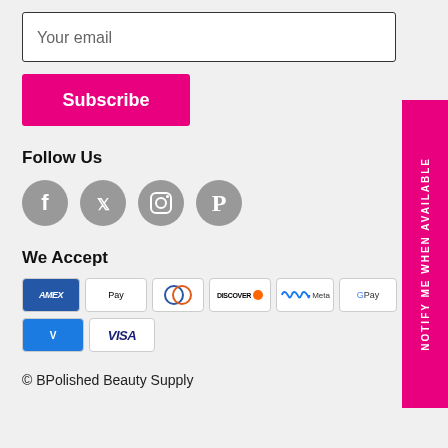Your email
Subscribe
Follow Us
[Figure (infographic): Social media icons: Facebook, Twitter, Instagram, Pinterest — circular gray buttons]
We Accept
[Figure (infographic): Payment method logos: Amex, Apple Pay, Diners Club, Discover, Meta Pay, Google Pay, Mastercard, PayPal, (partially visible), Venmo, Visa]
© BPolished Beauty Supply
NOTIFY ME WHEN AVAILABLE